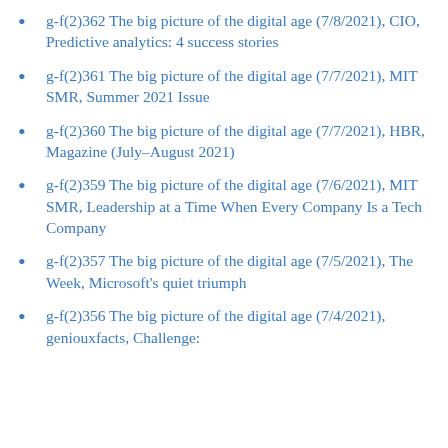g-f(2)362 The big picture of the digital age (7/8/2021), CIO, Predictive analytics: 4 success stories
g-f(2)361 The big picture of the digital age (7/7/2021), MIT SMR, Summer 2021 Issue
g-f(2)360 The big picture of the digital age (7/7/2021), HBR, Magazine (July–August 2021)
g-f(2)359 The big picture of the digital age (7/6/2021), MIT SMR, Leadership at a Time When Every Company Is a Tech Company
g-f(2)357 The big picture of the digital age (7/5/2021), The Week, Microsoft's quiet triumph
g-f(2)356 The big picture of the digital age (7/4/2021), geniouxfacts, Challenge: